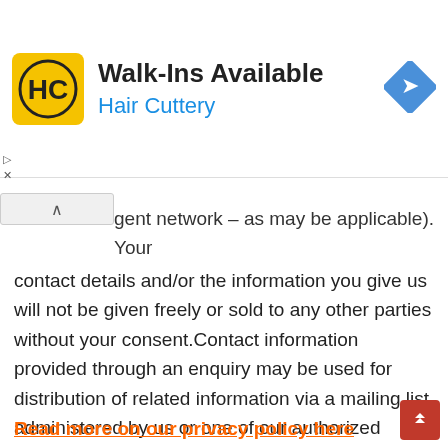[Figure (other): Hair Cuttery advertisement banner with logo, 'Walk-Ins Available' heading, blue subtitle 'Hair Cuttery', and blue diamond navigation arrow icon]
gent network – as may be applicable). Your contact details and/or the information you give us will not be given freely or sold to any other parties without your consent.Contact information provided through an enquiry may be used for distribution of related information via a mailing list administered by us or one of our authorized partners and/or agents. All e-mail and fax correspondence to you will give you an option to remove yourself from that mailing list and describe how to do so.
Read more on our privacy policy here